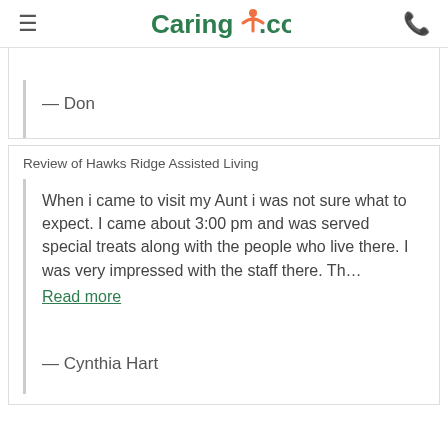Caring.com
— Don
Review of Hawks Ridge Assisted Living
When i came to visit my Aunt i was not sure what to expect. I came about 3:00 pm and was served special treats along with the people who live there. I was very impressed with the staff there. Th… Read more
— Cynthia Hart